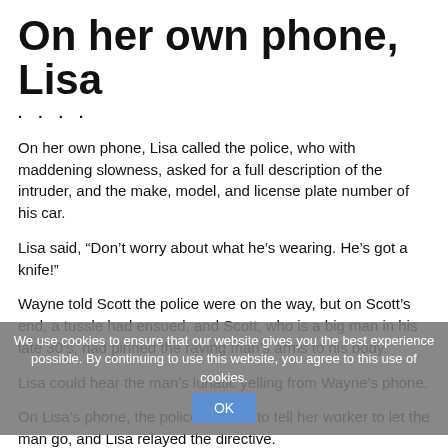On her own phone, Lisa
....
On her own phone, Lisa called the police, who with maddening slowness, asked for a full description of the intruder, and the make, model, and license plate number of his car.
Lisa said, “Don’t worry about what he’s wearing. He’s got a knife!”
Wayne told Scott the police were on the way, but on Scott’s end, a tussle had ensued, and Scott, who is a big man in his late 30’s, had pinned the raving man’s arms to his body.
Lisa could hear the man’s lunatic yelling from Wayne’s phone.
On Lisa’s phone, the police told her to tell her worker to let the man go, and Lisa relayed the directive.
Scott said, “I can’t let him go, I’m afraid for my life,” and then he hung up.
We use cookies to ensure that our website gives you the best experience possible. By continuing to use this website, you agree to this use of cookies. OK